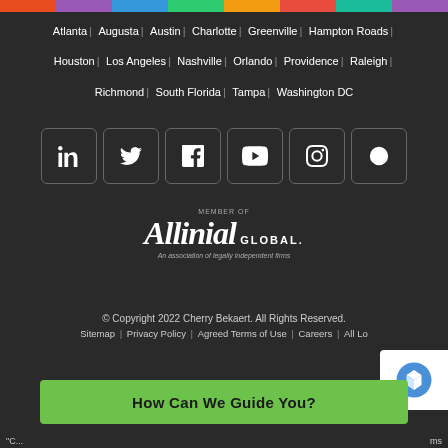Atlanta | Augusta | Austin | Charlotte | Greenville | Hampton Roads | Houston | Los Angeles | Nashville | Orlando | Providence | Raleigh | Richmond | South Florida | Tampa | Washington DC
[Figure (other): Social media icon buttons: LinkedIn, Twitter, Facebook, YouTube, Instagram, Glassdoor]
[Figure (logo): Member of Allinial Global logo - An association of legally independent firms]
© Copyright 2022 Cherry Bekaert. All Rights Reserved. Sitemap | Privacy Policy | Agreed Terms of Use | Careers | All Lo...
How Can We Guide You?